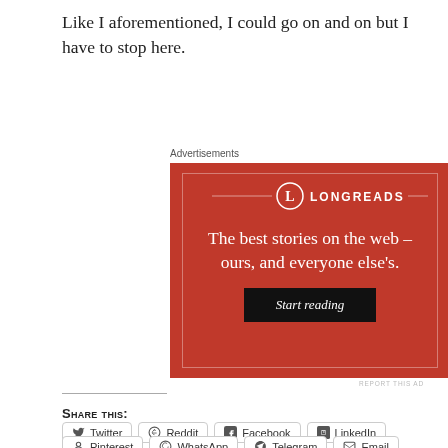Like I aforementioned, I could go on and on but I have to stop here.
[Figure (advertisement): Longreads advertisement: red background with white text 'The best stories on the web – ours, and everyone else's.' and a 'Start reading' button]
Share this:
Twitter
Reddit
Facebook
LinkedIn
Pinterest
WhatsApp
Telegram
Email